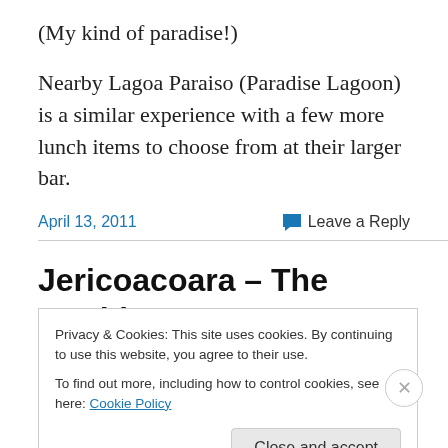(My kind of paradise!)
Nearby Lagoa Paraiso (Paradise Lagoon) is a similar experience with a few more lunch items to choose from at their larger bar.
April 13, 2011
Leave a Reply
Jericoacoara – The World's
Privacy & Cookies: This site uses cookies. By continuing to use this website, you agree to their use.
To find out more, including how to control cookies, see here: Cookie Policy
Close and accept